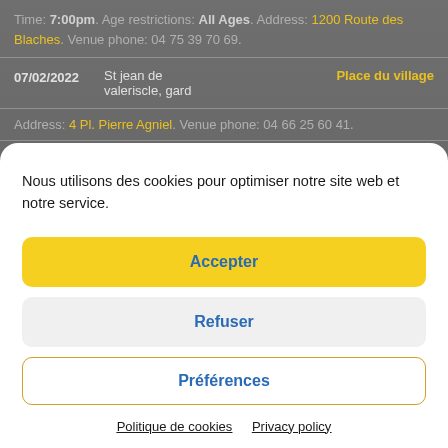Time: 7:00pm. Age restrictions: All Ages. Address: 1200 Route des Blaches. Venue phone: 04 75 39 70 69.
07/02/2022 | St jean de valeriscle, gard | Place du village
Address: 4 Pl. Pierre Agniel. Venue phone: 04 66 25 60 41.
Nous utilisons des cookies pour optimiser notre site web et notre service.
Accepter
Refuser
Préférences
Politique de cookies   Privacy policy